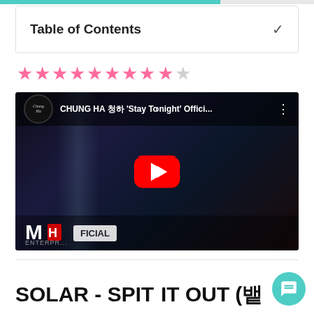Table of Contents
[Figure (other): Star rating: 9 out of 10 pink stars filled, one empty]
[Figure (screenshot): YouTube video thumbnail for CHUNG HA 청하 'Stay Tonight' Official MV by MNH Entertainment, showing red play button over a woman with dark hair in a dark scene]
SOLAR - SPIT IT OUT (뱉어)